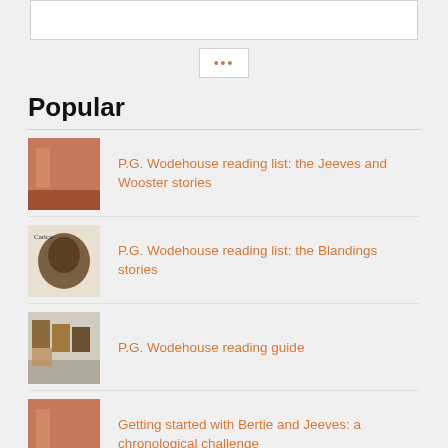[Figure (screenshot): Top white box with border, partial page element]
[Figure (screenshot): Ellipsis button (…) in a bordered white box, navigation element]
Popular
P.G. Wodehouse reading list: the Jeeves and Wooster stories
P.G. Wodehouse reading list: the Blandings stories
P.G. Wodehouse reading guide
Getting started with Bertie and Jeeves: a chronological challenge
What do Wodehouse lovers read when not reading Wodehouse?